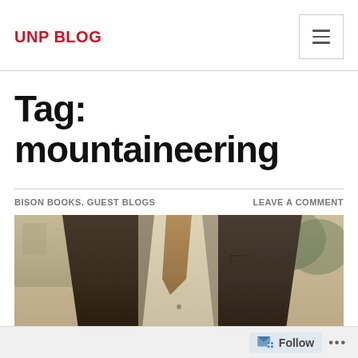UNP BLOG
Tag: mountaineering
BISON BOOKS, GUEST BLOGS
LEAVE A COMMENT
[Figure (photo): Sepia-toned vintage photograph showing a man in a dark suit with a tie, cropped at torso level, with trees visible in the background.]
Follow ...